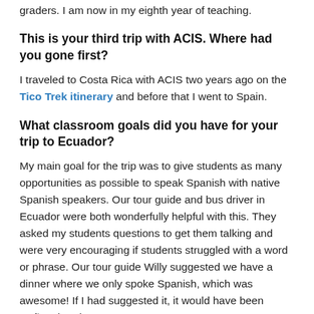graders. I am now in my eighth year of teaching.
This is your third trip with ACIS. Where had you gone first?
I traveled to Costa Rica with ACIS two years ago on the Tico Trek itinerary and before that I went to Spain.
What classroom goals did you have for your trip to Ecuador?
My main goal for the trip was to give students as many opportunities as possible to speak Spanish with native Spanish speakers. Our tour guide and bus driver in Ecuador were both wonderfully helpful with this. They asked my students questions to get them talking and were very encouraging if students struggled with a word or phrase. Our tour guide Willy suggested we have a dinner where we only spoke Spanish, which was awesome! If I had suggested it, it would have been Señora harping